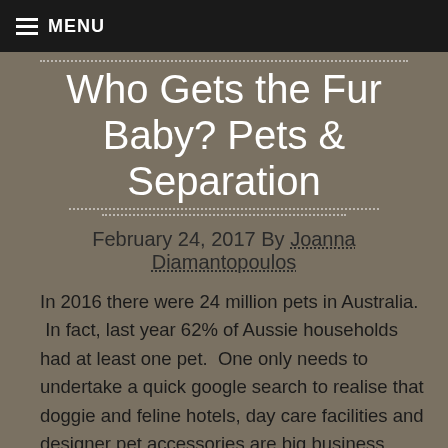MENU
Who Gets the Fur Baby? Pets & Separation
February 24, 2017 By Joanna Diamantopoulos
In 2016 there were 24 million pets in Australia. In fact, last year 62% of Aussie households had at least one pet. One only needs to undertake a quick google search to realise that doggie and feline hotels, day care facilities and designer pet accessories are big business. Certainly, the booming pet care industry reflects a significant